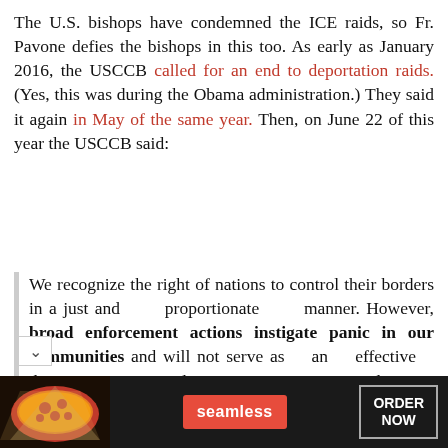The U.S. bishops have condemned the ICE raids, so Fr. Pavone defies the bishops in this too. As early as January 2016, the USCCB called for an end to deportation raids. (Yes, this was during the Obama administration.) They said it again in May of the same year. Then, on June 22 of this year the USCCB said:
We recognize the right of nations to control their borders in a just and proportionate manner. However, broad enforcement actions instigate panic in our communities and will not serve as an effective deterrent to irregular migration. Instead, we should focus on the root causes in Central America that have
[Figure (other): Advertisement banner for Seamless food delivery service showing pizza image on left, Seamless logo in red button in center, and ORDER NOW button on right, all on dark background.]